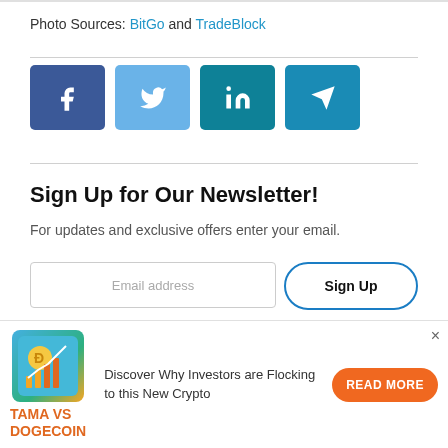Photo Sources: BitGo and TradeBlock
[Figure (infographic): Social share buttons: Facebook (dark blue), Twitter (light blue), LinkedIn (teal), Telegram (teal-blue)]
Sign Up for Our Newsletter!
For updates and exclusive offers enter your email.
[Figure (infographic): Email input field and Sign Up button]
[Figure (infographic): Ad banner: TAMA VS DOGECOIN - Discover Why Investors are Flocking to this New Crypto - READ MORE button]